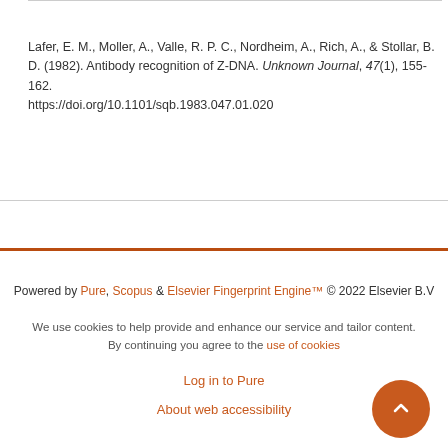Lafer, E. M., Moller, A., Valle, R. P. C., Nordheim, A., Rich, A., & Stollar, B. D. (1982). Antibody recognition of Z-DNA. Unknown Journal, 47(1), 155-162. https://doi.org/10.1101/sqb.1983.047.01.020
Powered by Pure, Scopus & Elsevier Fingerprint Engine™ © 2022 Elsevier B.V
We use cookies to help provide and enhance our service and tailor content. By continuing you agree to the use of cookies
Log in to Pure
About web accessibility